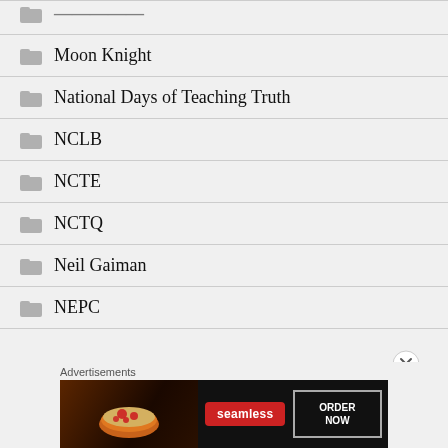Moon Knight
National Days of Teaching Truth
NCLB
NCTE
NCTQ
Neil Gaiman
NEPC
[Figure (screenshot): Seamless food delivery advertisement banner with pizza image, Seamless logo in red, and ORDER NOW button]